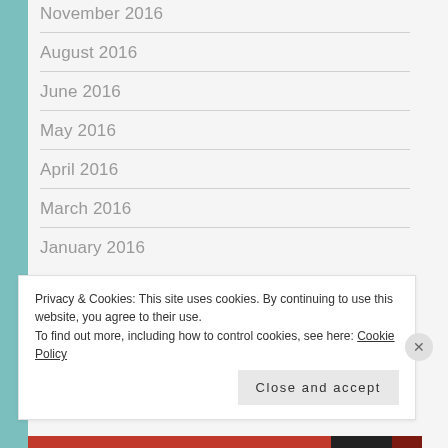November 2016
August 2016
June 2016
May 2016
April 2016
March 2016
January 2016
Privacy & Cookies: This site uses cookies. By continuing to use this website, you agree to their use.
To find out more, including how to control cookies, see here: Cookie Policy
Close and accept